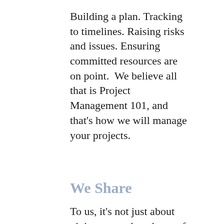Building a plan. Tracking to timelines. Raising risks and issues. Ensuring committed resources are on point.  We believe all that is Project Management 101, and that's how we will manage your projects.
We Share
To us, it's not just about giving you a data dump of your project...